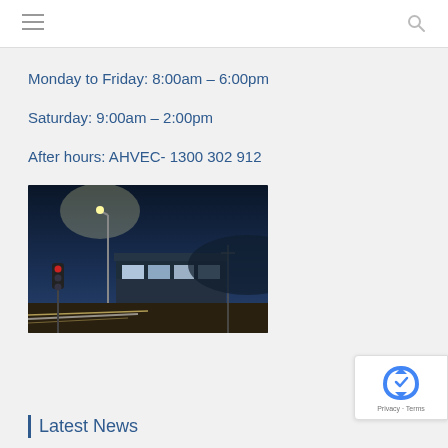Monday to Friday: 8:00am – 6:00pm
Saturday: 9:00am – 2:00pm
After hours: AHVEC- 1300 302 912
[Figure (photo): Night photo of a commercial building at an intersection with street lights and light trails from traffic]
Latest News